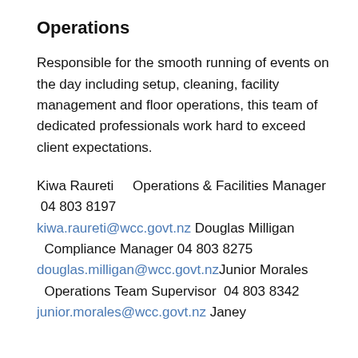Operations
Responsible for the smooth running of events on the day including setup, cleaning, facility management and floor operations, this team of dedicated professionals work hard to exceed client expectations.
Kiwa Raureti    Operations & Facilities Manager  04 803 8197
kiwa.raureti@wcc.govt.nz Douglas Milligan   Compliance Manager 04 803 8275
douglas.milligan@wcc.govt.nzJunior Morales   Operations Team Supervisor  04 803 8342
junior.morales@wcc.govt.nz Janey